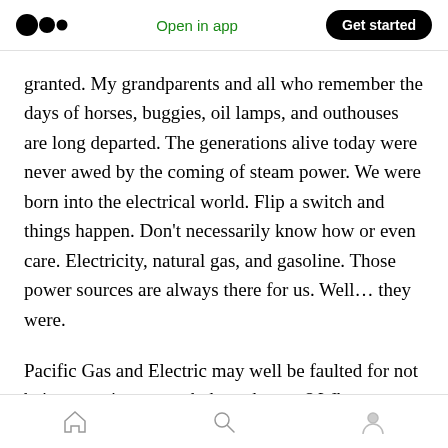Open in app  Get started
granted. My grandparents and all who remember the days of horses, buggies, oil lamps, and outhouses are long departed. The generations alive today were never awed by the coming of steam power. We were born into the electrical world. Flip a switch and things happen. Don’t necessarily know how or even care. Electricity, natural gas, and gasoline. Those power sources are always there for us. Well… they were.
Pacific Gas and Electric may well be faulted for not being prescient enough, but who was? What
Home  Search  Profile